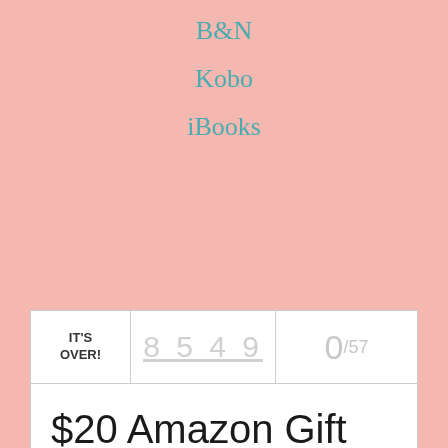B&N
Kobo
iBooks
[Figure (screenshot): A giveaway widget showing 'IT'S OVER!' on the left, '8549' as a number in the middle, '0/57' on the right, and '$20 Amazon Gift Card' as the prize text, with partial images of gift cards at the bottom.]